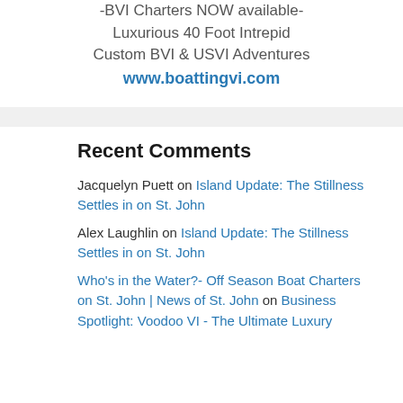Explore with Captain Bum -BVI Charters NOW available- Luxurious 40 Foot Intrepid Custom BVI & USVI Adventures www.boattingvi.com
Recent Comments
Jacquelyn Puett on Island Update: The Stillness Settles in on St. John
Alex Laughlin on Island Update: The Stillness Settles in on St. John
Who's in the Water?- Off Season Boat Charters on St. John | News of St. John on Business Spotlight: Voodoo VI - The Ultimate Luxury